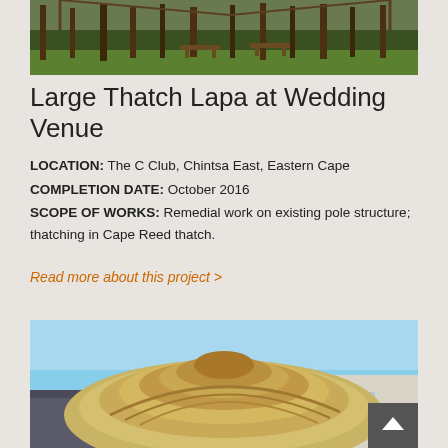[Figure (photo): Outdoor thatch lapa structure with trees and wooden benches in background, grass area at wedding venue]
Large Thatch Lapa at Wedding Venue
LOCATION: The C Club, Chintsa East, Eastern Cape
COMPLETION DATE: October 2016
SCOPE OF WORKS: Remedial work on existing pole structure; thatching in Cape Reed thatch.
Read more about this project >
[Figure (photo): Close-up of Cape Reed thatch roof with layered thatching on a conical roof structure, residential buildings visible behind]